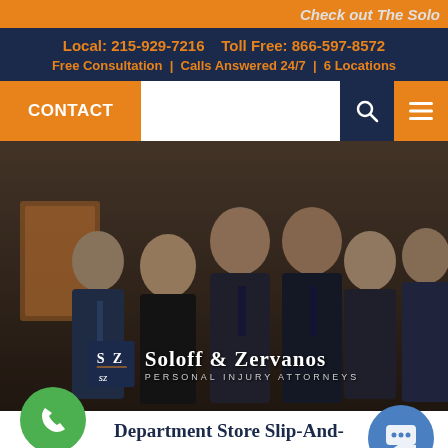Check out The Solo
Local: 215-929-7216   Toll Free: 866-597-8572
Free Consultation | Calls Answered 24/7 | 6 Locations
CONTACT
[Figure (photo): Group photo of six attorneys from Soloff & Zervanos Personal Injury Attorneys standing together in professional attire]
Department Store Slip-And-Fall Lawyers